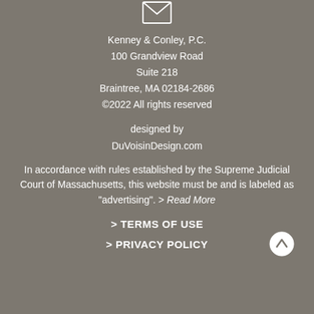[Figure (illustration): Envelope/mail icon outline at top center]
Kenney & Conley, P.C.
100 Grandview Road
Suite 218
Braintree, MA 02184-2686
©2022 All rights reserved
designed by
DuVoisinDesign.com
In accordance with rules established by the Supreme Judicial Court of Massachusetts, this website must be and is labeled as "advertising". > Read More
> TERMS OF USE
> PRIVACY POLICY